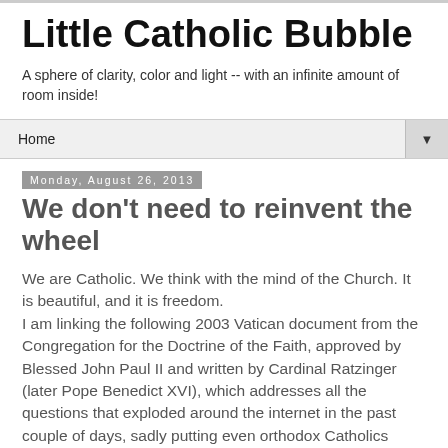Little Catholic Bubble
A sphere of clarity, color and light -- with an infinite amount of room inside!
Home
Monday, August 26, 2013
We don't need to reinvent the wheel
We are Catholic. We think with the mind of the Church. It is beautiful, and it is freedom.
I am linking the following 2003 Vatican document from the Congregation for the Doctrine of the Faith, approved by Blessed John Paul II and written by Cardinal Ratzinger (later Pope Benedict XVI), which addresses all the questions that exploded around the internet in the past couple of days, sadly putting even orthodox Catholics publicly at odds. We